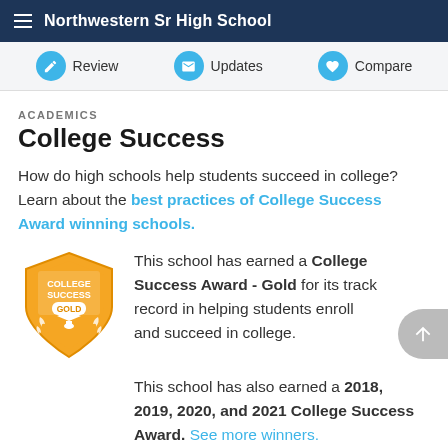Northwestern Sr High School
ACADEMICS
College Success
How do high schools help students succeed in college? Learn about the best practices of College Success Award winning schools.
[Figure (illustration): College Success Award - Gold badge/shield with graduation cap icon and laurel wreath]
This school has earned a College Success Award - Gold for its track record in helping students enroll and succeed in college.
This school has also earned a 2018, 2019, 2020, and 2021 College Success Award. See more winners.